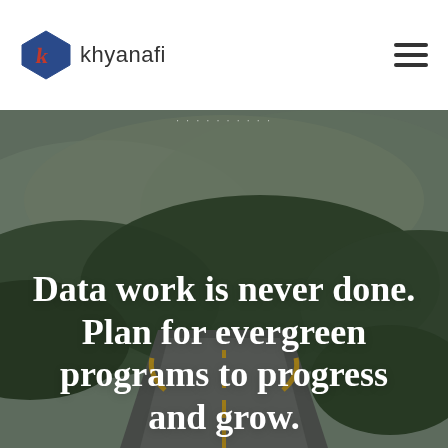[Figure (logo): Khyanafi logo: blue pentagon with orange k letter inside, followed by text 'khyanafi']
[Figure (photo): Background photo of a winding road through lush green forested hills with misty mountains in background]
Data work is never done. Plan for evergreen programs to progress and grow.